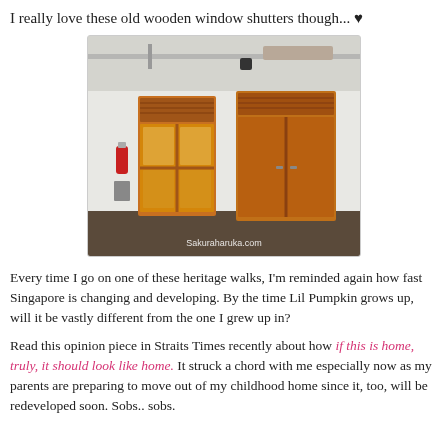I really love these old wooden window shutters though... ♥
[Figure (photo): Photograph of an old Singapore heritage building interior/facade showing two wooden orange-toned shuttered windows and a double door set into a white wall, with exposed ceiling pipes above. Watermark reads 'Sakuraharuka.com']
Every time I go on one of these heritage walks, I'm reminded again how fast Singapore is changing and developing. By the time Lil Pumpkin grows up, will it be vastly different from the one I grew up in?
Read this opinion piece in Straits Times recently about how if this is home, truly, it should look like home. It struck a chord with me especially now as my parents are preparing to move out of my childhood home since it, too, will be redeveloped soon. Sobs.. sobs.